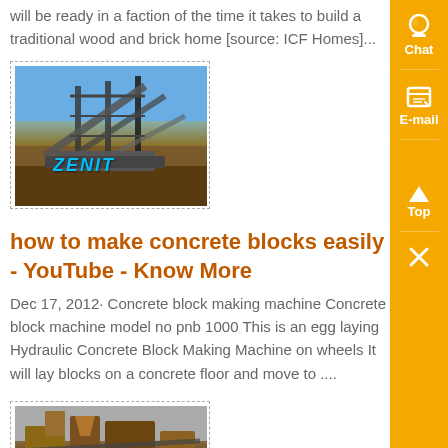will be ready in a faction of the time it takes to build a traditional wood and brick home [source: ICF Homes]...
[Figure (photo): Industrial mining/quarrying machine (ZENIT branded) with conveyor belts against a blue sky background, shown in a dashed border box]
how to make concrete blocks easily - YouTube - Know More
Dec 17, 2012· Concrete block making machine Concrete block machine model no pnb 1000 This is an egg laying Hydraulic Concrete Block Making Machine on wheels It will lay blocks on a concrete floor and move to ....
[Figure (photo): Industrial concrete block making machine, shown in a dashed border box, partially visible]